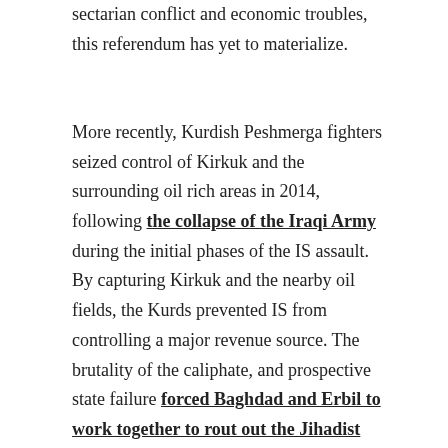sectarian conflict and economic troubles, this referendum has yet to materialize.
More recently, Kurdish Peshmerga fighters seized control of Kirkuk and the surrounding oil rich areas in 2014, following the collapse of the Iraqi Army during the initial phases of the IS assault. By capturing Kirkuk and the nearby oil fields, the Kurds prevented IS from controlling a major revenue source. The brutality of the caliphate, and prospective state failure forced Baghdad and Erbil to work together to rout out the Jihadist threat. Now that IS, has been driven out of Iraq, Baghdad desires a return to the pre-2014 status quo i.e. joint administration of the region. Erbil has thus far refused to surrender any of the gains made in 2014.